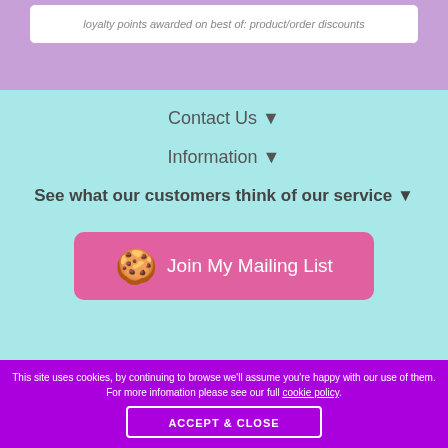loyalty points awarded on best of: product/order discounts
Contact Us ▾
Information ▾
See what our customers think of our service ▾
🍪 Join My Mailing List
This site uses cookies, by continuing to browse we'll assume you're happy with our use of them. For more infomation please see our full cookie policy.
ACCEPT & CLOSE